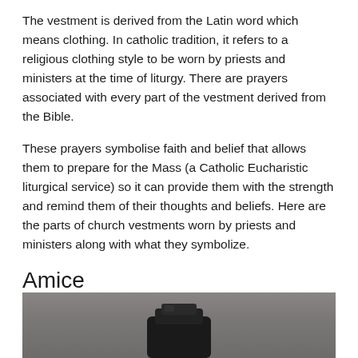The vestment is derived from the Latin word which means clothing. In catholic tradition, it refers to a religious clothing style to be worn by priests and ministers at the time of liturgy. There are prayers associated with every part of the vestment derived from the Bible.
These prayers symbolise faith and belief that allows them to prepare for the Mass (a Catholic Eucharistic liturgical service) so it can provide them with the strength and remind them of their thoughts and beliefs. Here are the parts of church vestments worn by priests and ministers along with what they symbolize.
Amice
[Figure (photo): A photograph of an amice (white liturgical vestment) shown on a grey background, partially visible at the bottom of the page.]